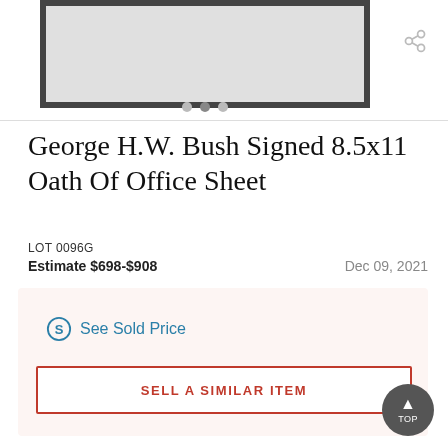[Figure (photo): Framed 8.5x11 signed document in a dark border frame, shown against white background with navigation dots below]
George H.W. Bush Signed 8.5x11 Oath Of Office Sheet
LOT 0096G
Estimate $698-$908   Dec 09, 2021
See Sold Price
SELL A SIMILAR ITEM